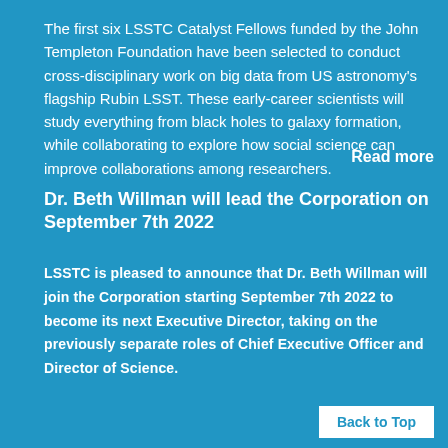The first six LSSTC Catalyst Fellows funded by the John Templeton Foundation have been selected to conduct cross-disciplinary work on big data from US astronomy's flagship Rubin LSST. These early-career scientists will study everything from black holes to galaxy formation, while collaborating to explore how social science can improve collaborations among researchers.
Read more
Dr. Beth Willman will lead the Corporation on September 7th 2022
LSSTC is pleased to announce that Dr. Beth Willman will join the Corporation starting September 7th 2022 to become its next Executive Director, taking on the previously separate roles of Chief Executive Officer and Director of Science.
Back to Top